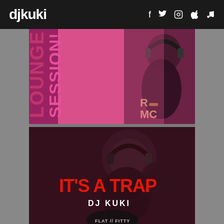djkuki — social icons: f, twitter, instagram, apple, music note
[Figure (photo): Lounge Session promotional image: pink/magenta background with DJ wearing headphones, vertical text reading LOUNGE SESSION on the left side, RUN DMC text visible on clothing]
[Figure (photo): Dark moody photo of bearded DJ with headphones, overlaid with red bold text IT'S A TRAP and white text DJ KUKI, FLAT // FITTY logo at bottom]